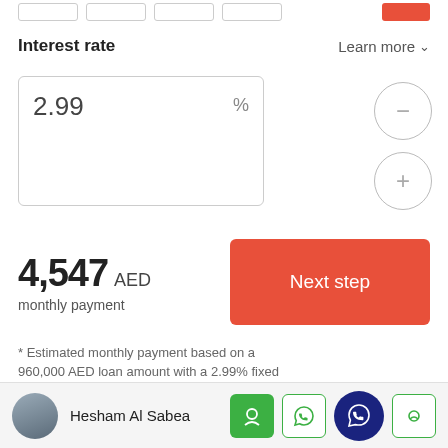Interest rate
Learn more
2.99 %
4,547 AED monthly payment
Next step
* Estimated monthly payment based on a 960,000 AED loan amount with a 2.99% fixed
Hesham Al Sabea